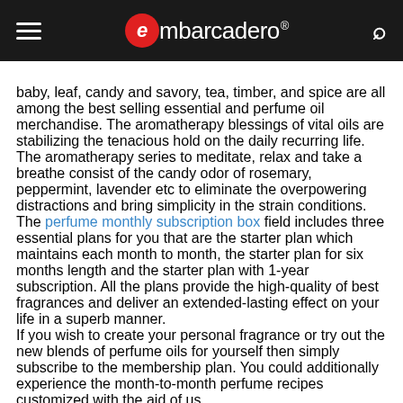embarcadero®
baby, leaf, candy and savory, tea, timber, and spice are all among the best selling essential and perfume oil merchandise. The aromatherapy blessings of vital oils are stabilizing the tenacious hold on the daily recurring life. The aromatherapy series to meditate, relax and take a breathe consist of the candy odor of rosemary, peppermint, lavender etc to eliminate the overpowering distractions and bring simplicity in the strain conditions.
The perfume monthly subscription box field includes three essential plans for you that are the starter plan which maintains each month to month, the starter plan for six months length and the starter plan with 1-year subscription. All the plans provide the high-quality of best fragrances and deliver an extended-lasting effect on your life in a superb manner.
If you wish to create your personal fragrance or try out the new blends of perfume oils for yourself then simply subscribe to the membership plan. You could additionally experience the month-to-month perfume recipes customized with the aid of us.
The fragrance subscription box is also a completely unique